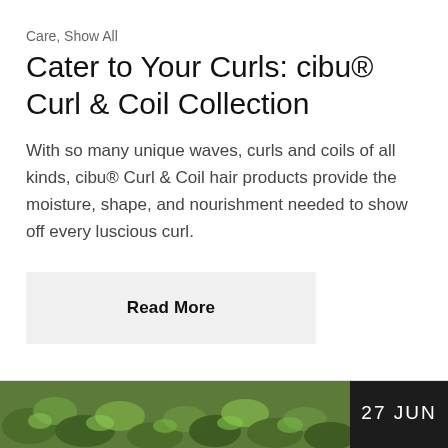Care, Show All
Cater to Your Curls: cibu® Curl & Coil Collection
With so many unique waves, curls and coils of all kinds, cibu® Curl & Coil hair products provide the moisture, shape, and nourishment needed to show off every luscious curl.
Read More
[Figure (photo): Photo of green plants/succulents with a dark banner showing '27 JUN']
27 JUN